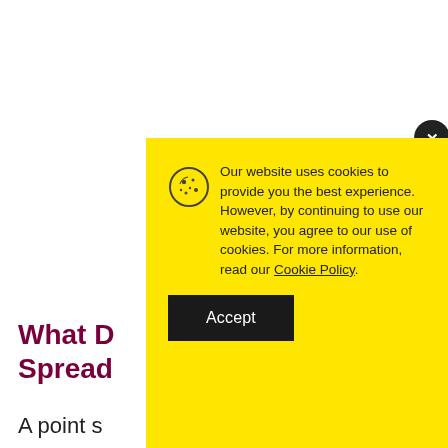What D… Spread…
A point s…
margin o…
[Figure (screenshot): Cookie consent modal with yellow background. Contains a cookie icon, the text 'Our website uses cookies to provide you the best experience. However, by continuing to use our website, you agree to our use of cookies. For more information, read our Cookie Policy.' and an Accept button. A close (×) button appears in the top-right corner.]
Our website uses cookies to provide you the best experience. However, by continuing to use our website, you agree to our use of cookies. For more information, read our Cookie Policy.
Accept